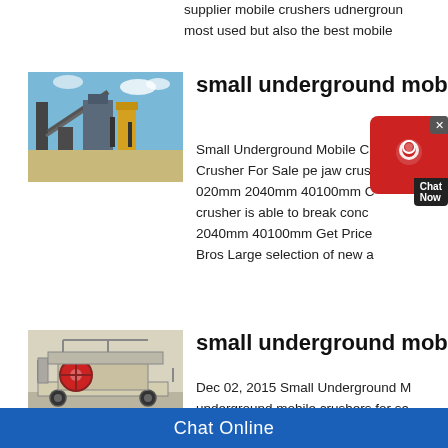supplier mobile crushers udnerground most used but also the best mobile
[Figure (photo): Industrial mining crushing plant with conveyor belts against blue sky]
small underground mob
Small Underground Mobile Crusher For Sale pe jaw crusher 020mm 2040mm 40100mm crusher is able to break concrete to 2040mm 40100mm Get Price New Bros Large selection of new and used
[Figure (photo): Mobile jaw crusher on trailer with red flywheel]
small underground mob
Dec 02, 2015 Small Underground M underground mobile crushers for sa
Chat Online